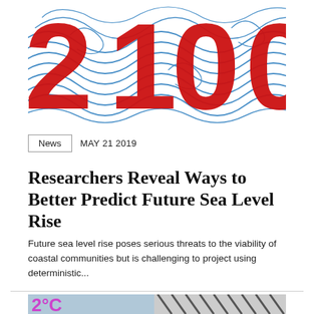[Figure (illustration): Decorative image with large red bold text '2100' overlaid on a white background with blue swirling wave patterns]
News   MAY 21 2019
Researchers Reveal Ways to Better Predict Future Sea Level Rise
Future sea level rise poses serious threats to the viability of coastal communities but is challenging to project using deterministic...
[Figure (illustration): Partial bottom image showing '2°C' text in magenta/pink and diagonal striped pattern on light blue background]